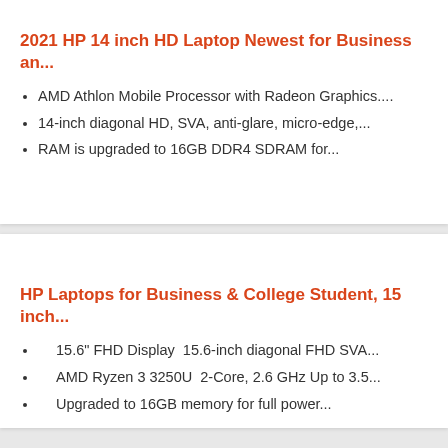2021 HP 14 inch HD Laptop Newest for Business an...
AMD Athlon Mobile Processor with Radeon Graphics....
14-inch diagonal HD, SVA, anti-glare, micro-edge,...
RAM is upgraded to 16GB DDR4 SDRAM for...
HP Laptops for Business & College Student, 15 inch...
15.6" FHD Display  15.6-inch diagonal FHD SVA...
AMD Ryzen 3 3250U  2-Core, 2.6 GHz Up to 3.5...
Upgraded to 16GB memory for full power...